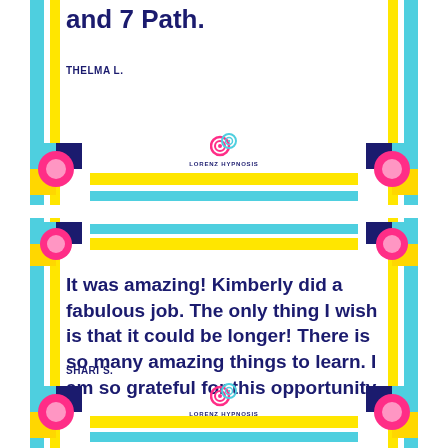and 7 Path.
THELMA L.
[Figure (logo): Lorenz Hypnosis spiral logo with text LORENZ HYPNOSIS]
[Figure (logo): Lorenz Hypnosis spiral logo with text LORENZ HYPNOSIS]
It was amazing! Kimberly did a fabulous job. The only thing I wish is that it could be longer! There is so many amazing things to learn. I am so grateful for this opportunity
SHARI S.
[Figure (logo): Lorenz Hypnosis spiral logo with text LORENZ HYPNOSIS]